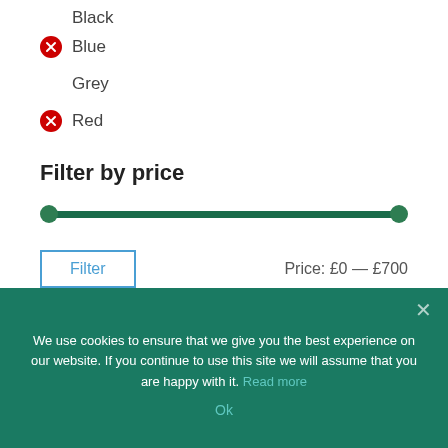Black
Blue
Grey
Red
Filter by price
[Figure (other): Price range slider from £0 to £700 with two green circle handles at each end of a dark green track]
Filter    Price: £0 — £700
We use cookies to ensure that we give you the best experience on our website. If you continue to use this site we will assume that you are happy with it. Read more
Ok